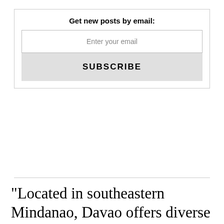Get new posts by email:
Enter your email
SUBSCRIBE
"Located in southeastern Mindanao, Davao offers diverse travel experiences set in lush natural landscapes — from fine white sand beaches to highlands with refreshing cool climates. This unique mix of diversity, both in landscape and in